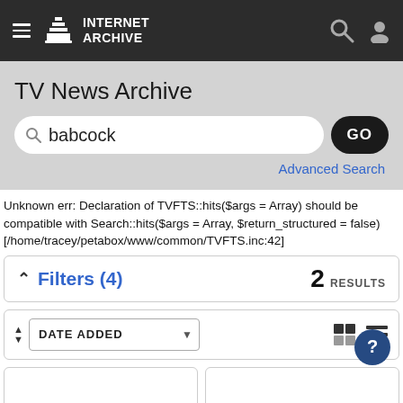Internet Archive
TV News Archive
babcock
Advanced Search
Unknown err: Declaration of TVFTS::hits($args = Array) should be compatible with Search::hits($args = Array, $return_structured = false) [/home/tracey/petabox/www/common/TVFTS.inc:42]
Filters (4)
2 RESULTS
DATE ADDED